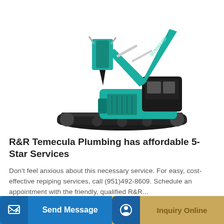[Figure (photo): Teal/green Sunward excavator with hydraulic breaker attachment, on white background]
R&R Temecula Plumbing has affordable 5-Star Services
Don't feel anxious about this necessary service. For easy, cost-effective repiping services, call (951)492-8609. Schedule an appointment with the friendly, qualified R&R...
Learn More
Send Message
Inquiry Online